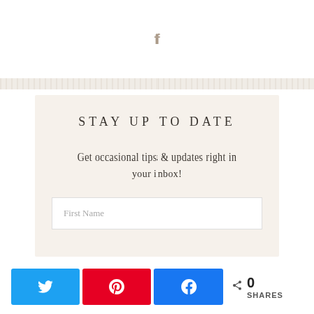[Figure (logo): Facebook 'f' icon in beige/tan color]
STAY UP TO DATE
Get occasional tips & updates right in your inbox!
First Name
0 SHARES